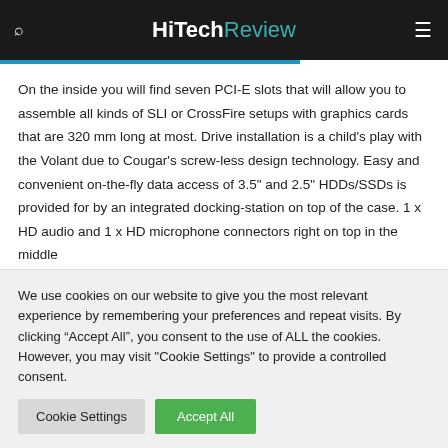HiTechReview
On the inside you will find seven PCI-E slots that will allow you to assemble all kinds of SLI or CrossFire setups with graphics cards that are 320 mm long at most. Drive installation is a child’s play with the Volant due to Cougar’s screw-less design technology. Easy and convenient on-the-fly data access of 3.5” and 2.5” HDDs/SSDs is provided for by an integrated docking-station on top of the case. 1 x HD audio and 1 x HD microphone connectors right on top in the middle
We use cookies on our website to give you the most relevant experience by remembering your preferences and repeat visits. By clicking “Accept All”, you consent to the use of ALL the cookies. However, you may visit "Cookie Settings" to provide a controlled consent.